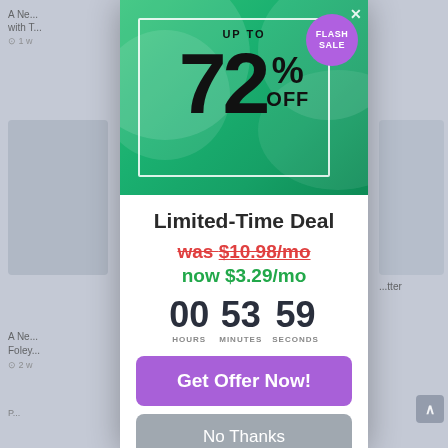[Figure (screenshot): Flash sale popup/modal with green gradient banner showing UP TO 72% OFF, Flash Sale purple badge, close X button]
Limited-Time Deal
was $10.98/mo
now $3.29/mo
00 HOURS  53 MINUTES  59 SECONDS
Get Offer Now!
No Thanks